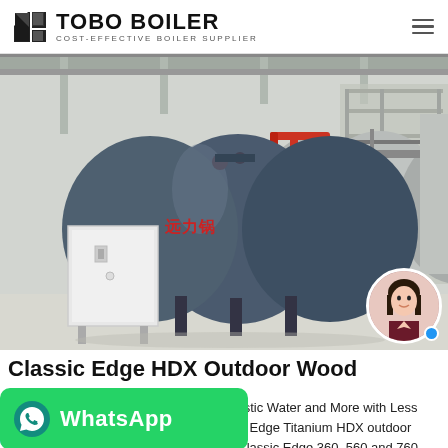TOBO BOILER COST-EFFECTIVE BOILER SUPPLIER
[Figure (photo): Industrial boiler installation showing a large dark blue/grey horizontal cylindrical boiler with red piping on top, a white electrical control cabinet to its left, a large silver cylindrical pressure vessel behind, metal scaffolding/stairs, and a person avatar avatar in the bottom-right corner.]
Classic Edge HDX Outdoor Wood Furnace |
re Home, Domestic Water and More with Less icing the Classic Edge Titanium HDX outdoor wood furnace. Classic Edge 360, 560 and 760 models are among the